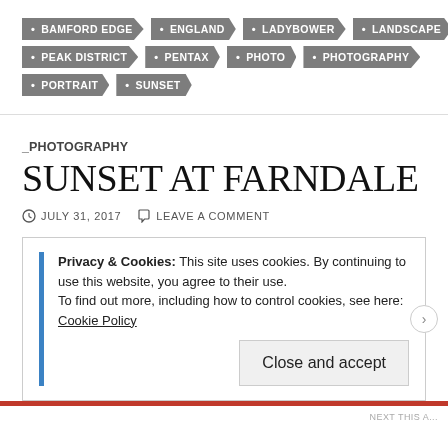BAMFORD EDGE
ENGLAND
LADYBOWER
LANDSCAPE
PEAK DISTRICT
PENTAX
PHOTO
PHOTOGRAPHY
PORTRAIT
SUNSET
_PHOTOGRAPHY
SUNSET AT FARNDALE
JULY 31, 2017   LEAVE A COMMENT
Privacy & Cookies: This site uses cookies. By continuing to use this website, you agree to their use.
To find out more, including how to control cookies, see here: Cookie Policy
Close and accept